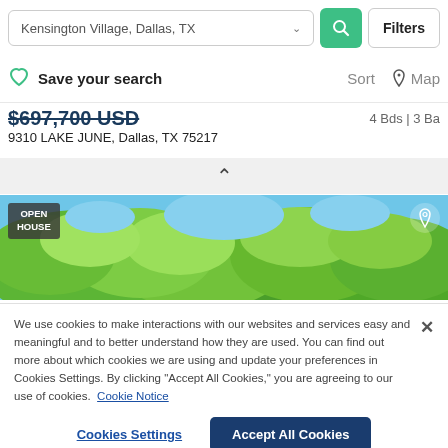Kensington Village, Dallas, TX
Save your search   Sort   Map
$697,700 USD   4 Bds | 3 Ba
9310 LAKE JUNE, Dallas, TX 75217
[Figure (photo): Property listing photo showing trees with green foliage against a blue sky, with an 'OPEN HOUSE' badge in the top left and a location pin icon in the top right.]
We use cookies to make interactions with our websites and services easy and meaningful and to better understand how they are used. You can find out more about which cookies we are using and update your preferences in Cookies Settings. By clicking "Accept All Cookies," you are agreeing to our use of cookies. Cookie Notice
Cookies Settings   Accept All Cookies